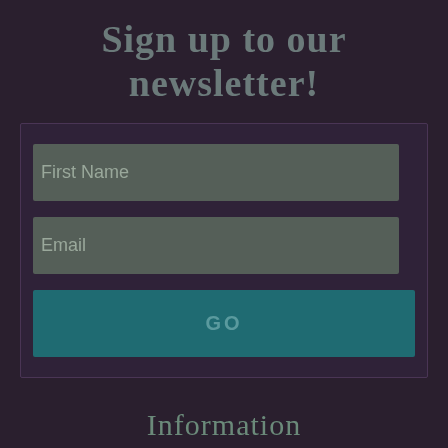Sign up to our newsletter!
[Figure (screenshot): Newsletter signup form with First Name and Email input fields and a GO submit button]
Information
About Balance & Beam